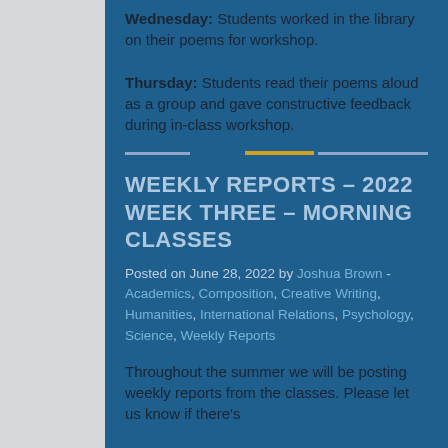Wednesday: Students worked in the library on their poems for workshop.
Thursday: Students read their poems aloud as a group and gave constructive feedback during in-class workshop.
WEEKLY REPORTS – 2022 WEEK THREE – MORNING CLASSES
Posted on June 28, 2022 by Joshua Brown - Academics, Composition, Creative Writing, Humanities, International Relations, Psychology, Science, Weekly Reports
Throughout the summer we will be posting weekly reports from the classes. Please let us know if there's